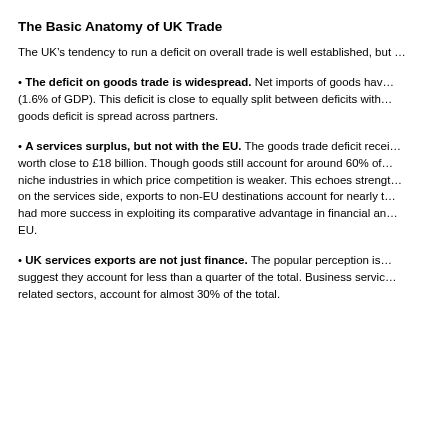The Basic Anatomy of UK Trade
The UK’s tendency to run a deficit on overall trade is well established, but …
The deficit on goods trade is widespread. Net imports of goods hav… (1.6% of GDP). This deficit is close to equally split between deficits with… goods deficit is spread across partners.
A services surplus, but not with the EU. The goods trade deficit recei… worth close to £18 billion. Though goods still account for around 60% of… niche industries in which price competition is weaker. This echoes strengt… on the services side, exports to non-EU destinations account for nearly t… had more success in exploiting its comparative advantage in financial an… EU.
UK services exports are not just finance. The popular perception is… suggest they account for less than a quarter of the total. Business servic… related sectors, account for almost 30% of the total.